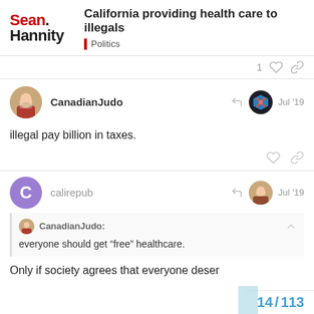Sean Hannity | California providing health care to illegals | Politics
illegal pay billion in taxes.
calirepub
CanadianJudo: everyone should get “free” healthcare.
Only if society agrees that everyone deser
14 / 113